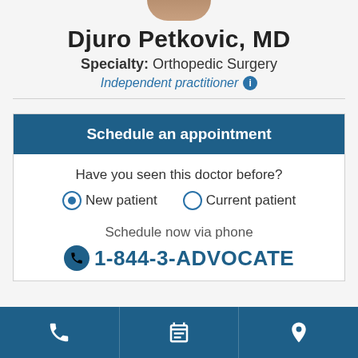[Figure (photo): Partial photo of Dr. Djuro Petkovic, cropped at top, showing bottom of head/shoulders]
Djuro Petkovic, MD
Specialty: Orthopedic Surgery
Independent practitioner ℹ
Schedule an appointment
Have you seen this doctor before?
New patient  Current patient
Schedule now via phone
1-844-3-ADVOCATE